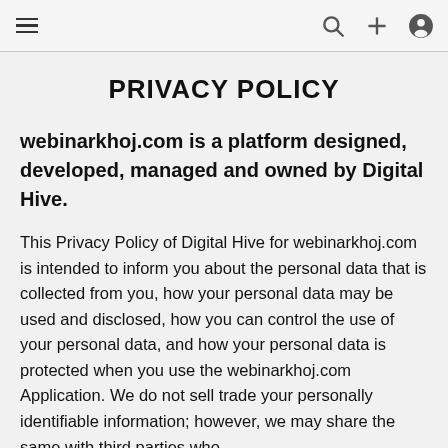≡  🔍  +  👤
PRIVACY POLICY
webinarkhoj.com is a platform designed, developed, managed and owned by Digital Hive.
This Privacy Policy of Digital Hive for webinarkhoj.com is intended to inform you about the personal data that is collected from you, how your personal data may be used and disclosed, how you can control the use of your personal data, and how your personal data is protected when you use the webinarkhoj.com Application. We do not sell trade your personally identifiable information; however, we may share the same with third parties who